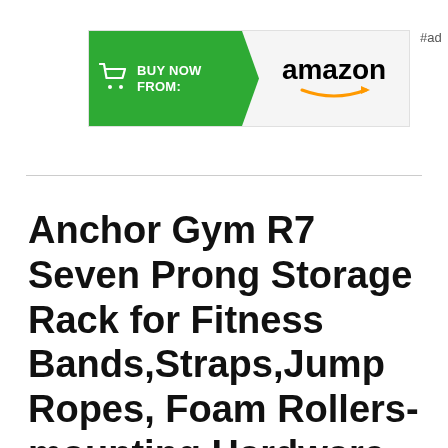[Figure (illustration): Amazon 'Buy Now From' advertisement banner with green arrow section containing shopping cart icon and 'BUY NOW FROM:' text, followed by Amazon logo with orange smile arrow, and '#ad' label to the right.]
Anchor Gym R7 Seven Prong Storage Rack for Fitness Bands,Straps,Jump Ropes, Foam Rollers-mounting Hardware Included